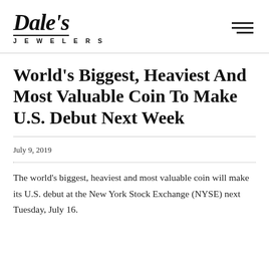[Figure (logo): Dale's Jewelers logo with italic script font and 'JEWELERS' in spaced caps below]
World's Biggest, Heaviest And Most Valuable Coin To Make U.S. Debut Next Week
July 9, 2019
The world's biggest, heaviest and most valuable coin will make its U.S. debut at the New York Stock Exchange (NYSE) next Tuesday, July 16.